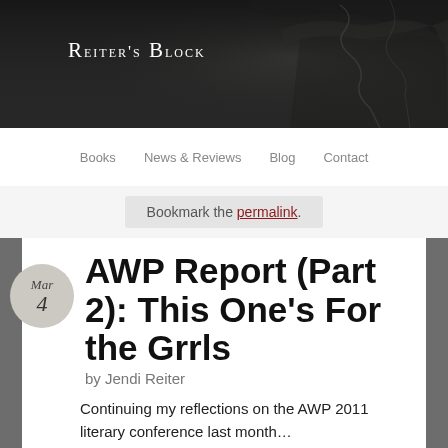Reiter's Block
Books  News & Reviews  Blog  Contact
Bookmark the permalink.
AWP Report (Part 2): This One's For the Grrls
by Jendi Reiter
Continuing my reflections on the AWP 2011 literary conference last month…